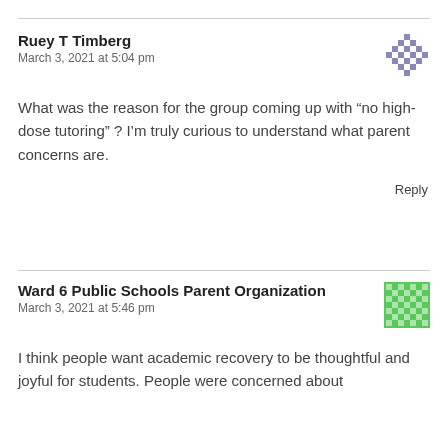Ruey T Timberg
March 3, 2021 at 5:04 pm
What was the reason for the group coming up with “no high-dose tutoring” ? I’m truly curious to understand what parent concerns are.
Reply
Ward 6 Public Schools Parent Organization
March 3, 2021 at 5:46 pm
I think people want academic recovery to be thoughtful and joyful for students. People were concerned about